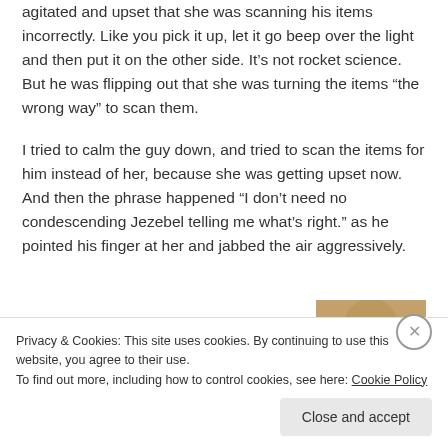agitated and upset that she was scanning his items incorrectly. Like you pick it up, let it go beep over the light and then put it on the other side. It’s not rocket science. But he was flipping out that she was turning the items “the wrong way” to scan them.
I tried to calm the guy down, and tried to scan the items for him instead of her, because she was getting upset now. And then the phrase happened “I don’t need no condescending Jezebel telling me what’s right.” as he pointed his finger at her and jabbed the air aggressively.
[Figure (photo): Partial image of a person, appears to be a cropped photo showing clothing/fabric in warm brown tones]
Privacy & Cookies: This site uses cookies. By continuing to use this website, you agree to their use.
To find out more, including how to control cookies, see here: Cookie Policy